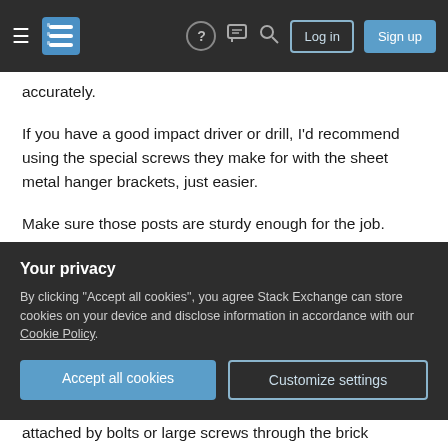Stack Exchange navigation bar with hamburger menu, logo, help, chat, search icons, Log in and Sign up buttons
accurately.
If you have a good impact driver or drill, I'd recommend using the special screws they make for with the sheet metal hanger brackets, just easier.
Make sure those posts are sturdy enough for the job.
Your drawing does not show a ledger - a board fastened to the wall to which you'll attach the rafters using metal hangers. The secure attachment of the
Your privacy
By clicking "Accept all cookies", you agree Stack Exchange can store cookies on your device and disclose information in accordance with our Cookie Policy.
Accept all cookies   Customize settings
attached by bolts or large screws through the brick